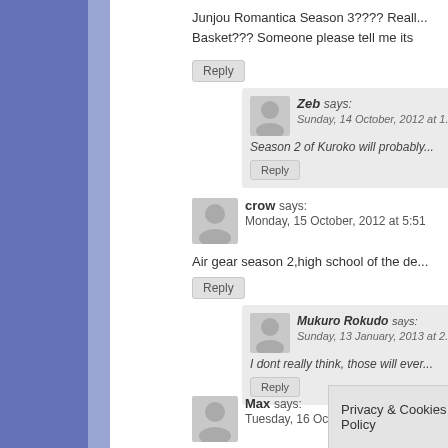Junjou Romantica Season 3???? Reall... Basket??? Someone please tell me its
Reply
Zeb says: Sunday, 14 October, 2012 at 1...
Season 2 of Kuroko will probably...
Reply
crow says: Monday, 15 October, 2012 at 5:51
Air gear season 2,high school of the de...
Reply
Mukuro Rokudo says: Sunday, 13 January, 2013 at 2...
I dont really think, those will ever...
Reply
Max says: Tuesday, 16 October, 2012 at 0:28
...a Rosario vampi...
Privacy & Cookies Policy